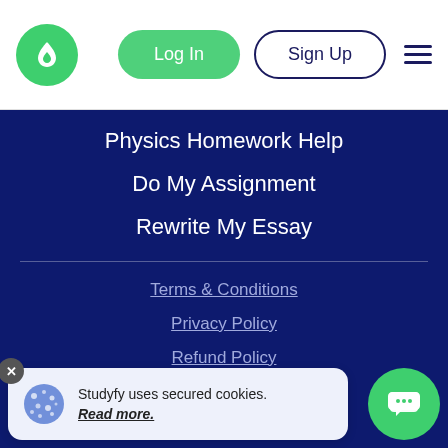Log In | Sign Up
Physics Homework Help
Do My Assignment
Rewrite My Essay
Terms & Conditions
Privacy Policy
Refund Policy
Cookies Policy
Studyfy uses secured cookies. Read more.